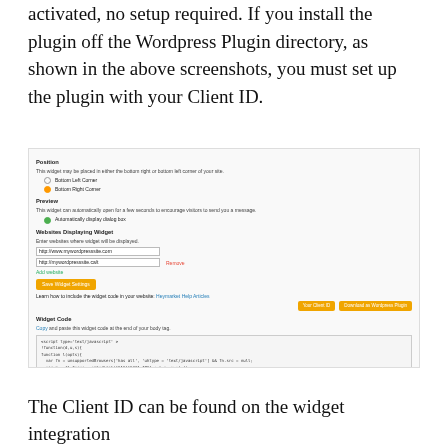activated, no setup required. If you install the plugin off the Wordpress Plugin directory, as shown in the above screenshots, you must set up the plugin with your Client ID.
[Figure (screenshot): Screenshot of a WordPress plugin settings page showing Position options (Bottom Left Corner, Bottom Right Corner), Preview section with Automatically display dialog box option, Websites Displaying Widget section with URL input fields and Remove link, Add website link, a yellow save button, a learn link for Heymarket Help Articles, Widget Code section with Copy and paste instructions, two yellow buttons (Your Client ID, Download as Wordpress Plugin), and a code box with JavaScript widget code.]
The Client ID can be found on the widget integration